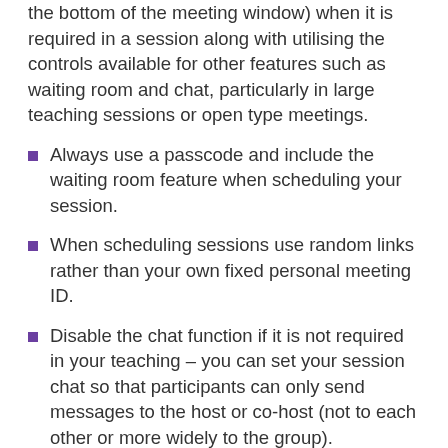the bottom of the meeting window) when it is required in a session along with utilising the controls available for other features such as waiting room and chat, particularly in large teaching sessions or open type meetings.
Always use a passcode and include the waiting room feature when scheduling your session.
When scheduling sessions use random links rather than your own fixed personal meeting ID.
Disable the chat function if it is not required in your teaching – you can set your session chat so that participants can only send messages to the host or co-host (not to each other or more widely to the group).
Mute all participants on entering the session. You can select this as an option when scheduling your session.